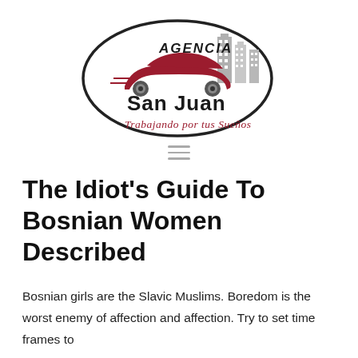[Figure (logo): Agencia San Juan logo with a red car silhouette, buildings, oval outline, and tagline 'Trabajando por tus Sueños']
The Idiot's Guide To Bosnian Women Described
Bosnian girls are the Slavic Muslims. Boredom is the worst enemy of affection and affection. Try to set time frames to